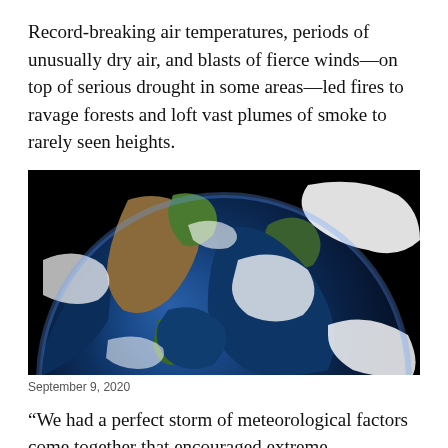Record-breaking air temperatures, periods of unusually dry air, and blasts of fierce winds—on top of serious drought in some areas—led fires to ravage forests and loft vast plumes of smoke to rarely seen heights.
[Figure (photo): Satellite image of Earth from space showing North America, Central America, and surrounding ocean with cloud cover, taken on September 9, 2020.]
September 9, 2020
“We had a perfect storm of meteorological factors come together that encouraged extreme